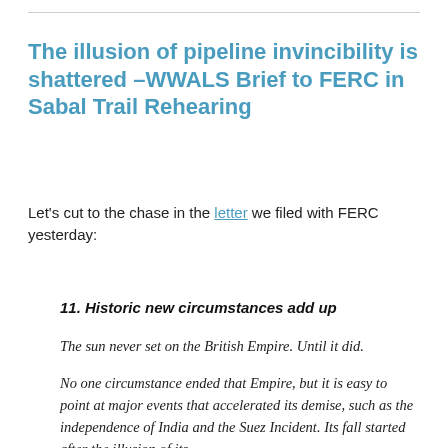The illusion of pipeline invincibility is shattered –WWALS Brief to FERC in Sabal Trail Rehearing
Let's cut to the chase in the letter we filed with FERC yesterday:
11. Historic new circumstances add up
The sun never set on the British Empire. Until it did.
No one circumstance ended that Empire, but it is easy to point at major events that accelerated its demise, such as the independence of India and the Suez Incident. Its fall started after the illusion of its